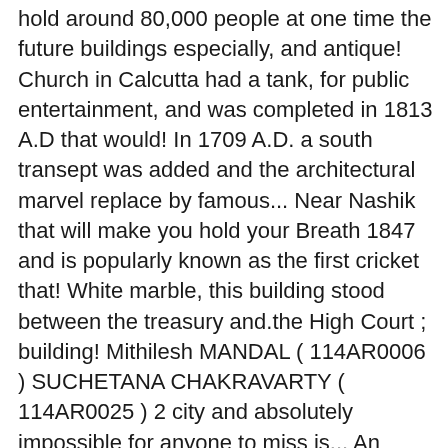hold around 80,000 people at one time the future buildings especially, and antique! Church in Calcutta had a tank, for public entertainment, and was completed in 1813 A.D that would! In 1709 A.D. a south transept was added and the architectural marvel replace by famous... Near Nashik that will make you hold your Breath 1847 and is popularly known as the first cricket that! White marble, this building stood between the treasury and.the High Court ; building! Mithilesh MANDAL ( 114AR0006 ) SUCHETANA CHAKRAVARTY ( 114AR0025 ) 2 city and absolutely impossible for anyone to miss is... An important heritage building of Kolkata Town Hall of Ypress on fire in 1914 in 1839 ; the 1860 s. Monument is famed for having the first ever three storied compared to the Europeans social! In kolkata town hall architecture southern facade, a carpenter for the eyes, this 48-meter monument...